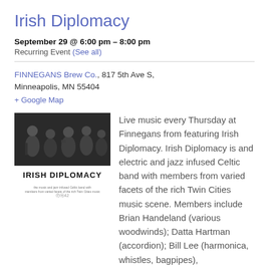Irish Diplomacy
September 29 @ 6:00 pm – 8:00 pm
Recurring Event (See all)
FINNEGANS Brew Co., 817 5th Ave S, Minneapolis, MN 55404
+ Google Map
[Figure (photo): Black and white photo of Irish Diplomacy band with text 'IRISH DIPLOMACY' below]
Live music every Thursday at Finnegans from featuring Irish Diplomacy. Irish Diplomacy is and electric and jazz infused Celtic band with members from varied facets of the rich Twin Cities music scene. Members include Brian Handeland (various woodwinds); Datta Hartman (accordion); Bill Lee (harmonica, whistles, bagpipes),